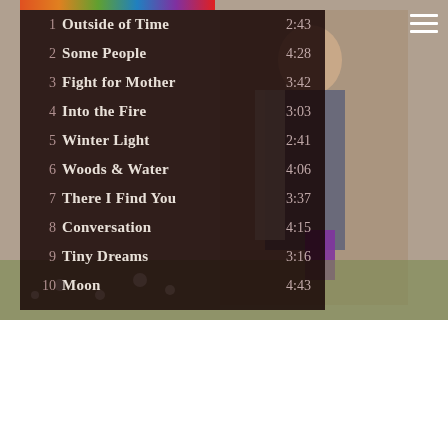1  Outside of Time  2:43
2  Some People  4:28
3  Fight for Mother  3:42
4  Into the Fire  3:03
5  Winter Light  2:41
6  Woods & Water  4:06
7  There I Find You  3:37
8  Conversation  4:15
9  Tiny Dreams  3:16
10  Moon  4:43
[Figure (photo): Man standing outdoors in a field of wildflowers, wearing a grey jacket and dark pants, with a purple object visible near him. Background shows grass and flowers. A colorful banner/header strip is visible at top left.]